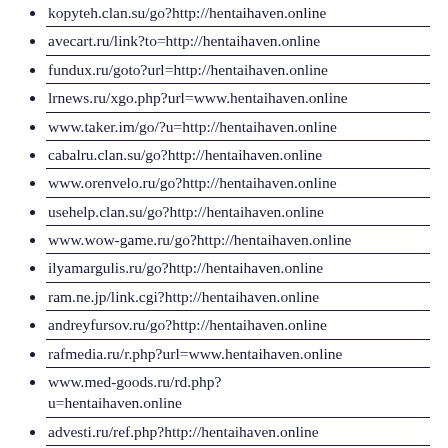kopyteh.clan.su/go?http://hentaihaven.online
avecart.ru/link?to=http://hentaihaven.online
fundux.ru/goto?url=http://hentaihaven.online
lrnews.ru/xgo.php?url=www.hentaihaven.online
www.taker.im/go/?u=http://hentaihaven.online
cabalru.clan.su/go?http://hentaihaven.online
www.orenvelo.ru/go?http://hentaihaven.online
usehelp.clan.su/go?http://hentaihaven.online
www.wow-game.ru/go?http://hentaihaven.online
ilyamargulis.ru/go?http://hentaihaven.online
ram.ne.jp/link.cgi?http://hentaihaven.online
andreyfursov.ru/go?http://hentaihaven.online
rafmedia.ru/r.php?url=www.hentaihaven.online
www.med-goods.ru/rd.php?u=hentaihaven.online
advesti.ru/ref.php?http://hentaihaven.online
sepoa.fr/wp/go.php?http://hentaihaven.online
millerovo161.ru/go?http://hentaihaven.online
devstroi.ru/?redir=http://hentaihaven.online